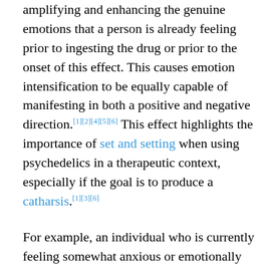amplifying and enhancing the genuine emotions that a person is already feeling prior to ingesting the drug or prior to the onset of this effect. This causes emotion intensification to be equally capable of manifesting in both a positive and negative direction.[1][2][4][5][6] This effect highlights the importance of set and setting when using psychedelics in a therapeutic context, especially if the goal is to produce a catharsis.[1][3][6]
For example, an individual who is currently feeling somewhat anxious or emotionally unstable may become overwhelmed with intensified negative emotions, paranoia, and confusion. In contrast, an individual who is generally feeling positive and emotionally stable is more likely to find themselves overwhelmed with states of emotional euphoria, happiness, and feelings of general contentment. The